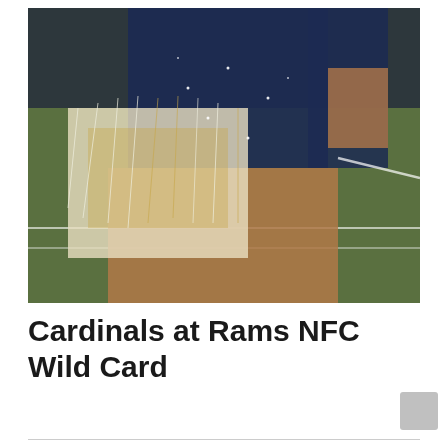[Figure (photo): A cheerleader in a navy blue and gold sequined costume holding white and gold pom-poms, performing on a football field sideline.]
Cardinals at Rams NFC Wild Card